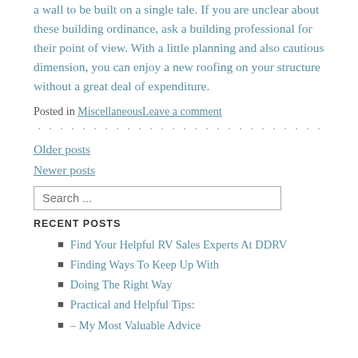a wall to be built on a single tale. If you are unclear about these building ordinance, ask a building professional for their point of view. With a little planning and also cautious dimension, you can enjoy a new roofing on your structure without a great deal of expenditure.
Posted in MiscellaneousLeave a comment
Older posts
Newer posts
RECENT POSTS
Find Your Helpful RV Sales Experts At DDRV
Finding Ways To Keep Up With
Doing The Right Way
Practical and Helpful Tips:
– My Most Valuable Advice